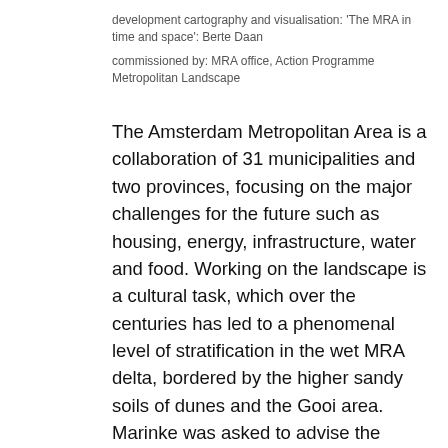development cartography and visualisation: 'The MRA in time and space': Berte Daan
commissioned by: MRA office, Action Programme Metropolitan Landscape
The Amsterdam Metropolitan Area is a collaboration of 31 municipalities and two provinces, focusing on the major challenges for the future such as housing, energy, infrastructure, water and food. Working on the landscape is a cultural task, which over the centuries has led to a phenomenal level of stratification in the wet MRA delta, bordered by the higher sandy soils of dunes and the Gooi area. Marinke was asked to advise the administrators on the course to be followed in respect of the MRA landscape, in view of the fact that the landscape is the place where all these tasks come together. The product is a strategic narrative, an analysis and interpretation of the historical development of the landscape